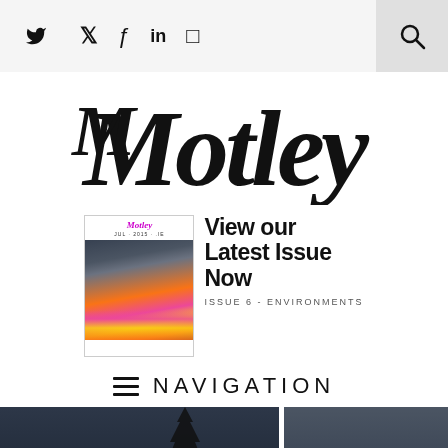Social icons: Twitter, Facebook, LinkedIn, Instagram; Search button
[Figure (logo): Motley magazine logo in large cursive/script black handwritten font]
[Figure (infographic): Promotional banner: Motley magazine cover image on left with text 'View our Latest Issue Now' on right, below reads 'ISSUE 6 - ENVIRONMENTS']
NAVIGATION
[Figure (photo): Dark teal/grey bottom strip showing outdoor scene with tree silhouette, split into two panels by a white divider]